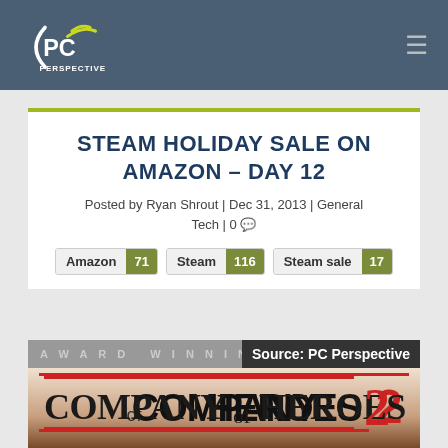PC Perspective
STEAM HOLIDAY SALE ON AMAZON – DAY 12
Posted by Ryan Shrout | Dec 31, 2013 | General Tech | 0
Amazon 71
Steam 116
Steam sale 17
[Figure (screenshot): Company of Heroes 2 game screenshot with 'AWARD WINNING' header bar and 'Source: PC Perspective' label overlay]